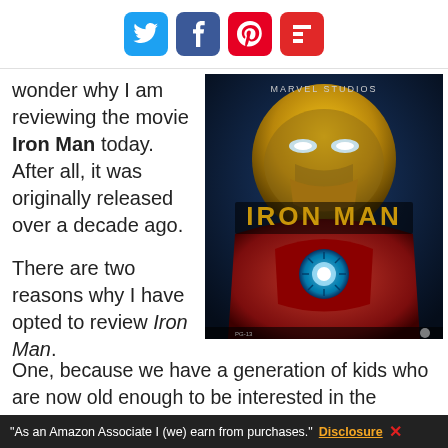Social sharing icons: Twitter, Facebook, Pinterest, Flipboard
wonder why I am reviewing the movie Iron Man today. After all, it was originally released over a decade ago.
[Figure (photo): Iron Man movie poster showing the armored Iron Man suit with glowing arc reactor, golden helmet, red armor, with IRON MAN text in gold letters. Paramount Pictures logo visible at bottom right.]
There are two reasons why I have opted to review Iron Man.  One, because we have a generation of kids who are now old enough to be interested in the Marvel Avengers, but were not old enough in the beginning to watch the movies in order as they were released.
"As an Amazon Associate I (we) earn from purchases." Disclosure X